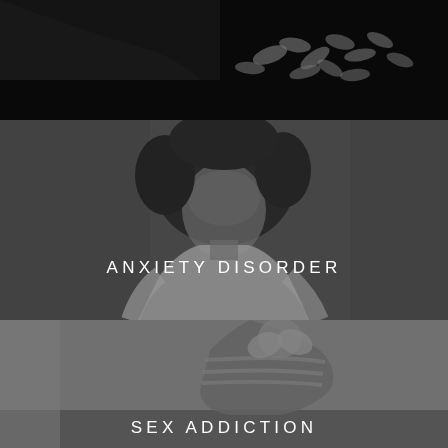[Figure (photo): Black and white photo of pills/tablets scattered on a dark surface, viewed from above]
[Figure (photo): Black and white photo of a woman with curly hair covering her face with her hand, wearing a white t-shirt, on a dark grey background]
ANXIETY DISORDER
[Figure (photo): Black and white photo of a person in a striped shirt hunched over with head in hands, sitting on what appears to be a couch]
SEX ADDICTION